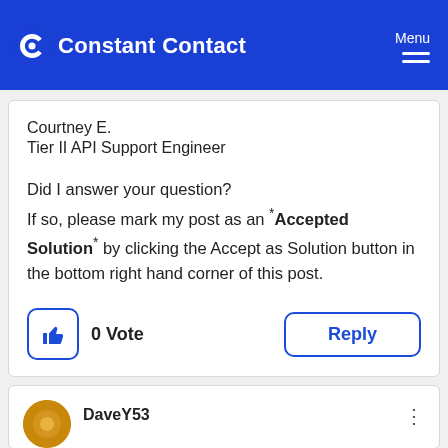Constant Contact | Menu
Courtney E.
Tier II API Support Engineer

Did I answer your question?
If so, please mark my post as an "Accepted Solution" by clicking the Accept as Solution button in the bottom right hand corner of this post.
0 Vote
Reply
DaveY53